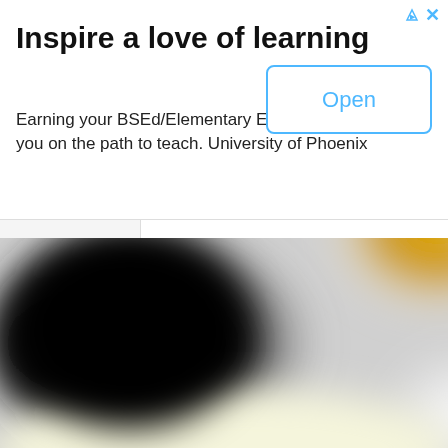Inspire a love of learning
Earning your BSEd/Elementary Education puts you on the path to teach. University of Phoenix
[Figure (screenshot): Advertisement open button with rounded rectangle border in light blue]
[Figure (photo): Blurred image with black region on left and golden/yellow region on upper right, white region lower right, fading to pale yellow at bottom. A navigation chevron/caret up icon is visible on the left side.]